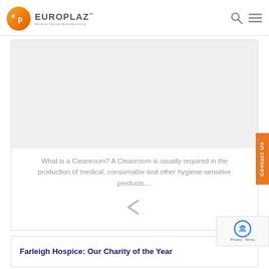EUROPLAZ - Medical Device Manufacturing
[Figure (screenshot): Europlaz logo with orange circular EP icon and gray EUROPLAZ brand text with tagline Medical Device Manufacturing]
What is a Cleanroom? A Cleanroom is usually required in the production of medical, consumable and other hygiene-sensitive products....
Farleigh Hospice: Our Charity of the Year